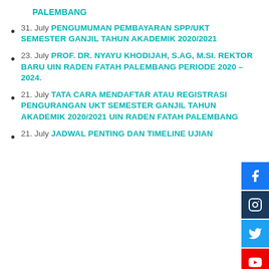PALEMBANG
31. July PENGUMUMAN PEMBAYARAN SPP/UKT SEMESTER GANJIL TAHUN AKADEMIK 2020/2021
23. July PROF. DR. NYAYU KHODIJAH, S.AG, M.SI. REKTOR BARU UIN RADEN FATAH PALEMBANG PERIODE 2020 – 2024.
21. July TATA CARA MENDAFTAR ATAU REGISTRASI PENGURANGAN UKT SEMESTER GANJIL TAHUN AKADEMIK 2020/2021 UIN RADEN FATAH PALEMBANG
21. July JADWAL PENTING DAN TIMELINE UJIAN